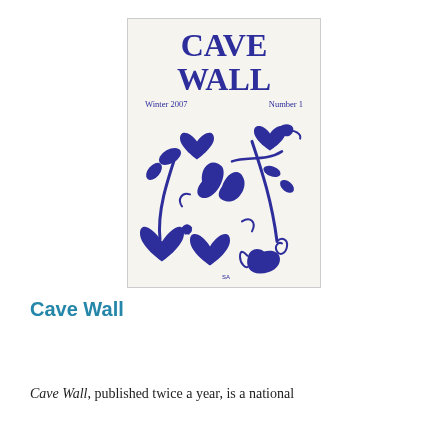[Figure (illustration): Magazine cover of Cave Wall, Winter 2007, Number 1, featuring bold blue lettering and an abstract illustration of intertwined vines, hearts and figures in deep blue on cream background.]
Cave Wall
Cave Wall, published twice a year, is a national